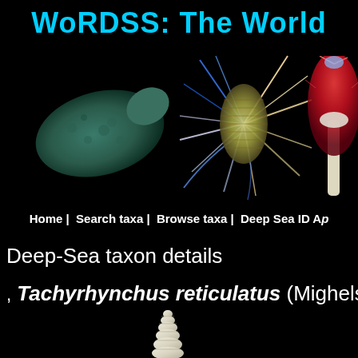WoRDSS: The World
[Figure (photo): Three deep-sea organism photos on black background: a sea cucumber (left, teal/green), a polychaete bristle worm (center, colorful with spines), and a coral/anemone (right, red and white)]
Home | Search taxa | Browse taxa | Deep Sea ID Ap
Deep-Sea taxon details
, Tachyrhynchus reticulatus (Mighels a
[Figure (photo): White/cream colored spiral shell (gastropod) on black background]